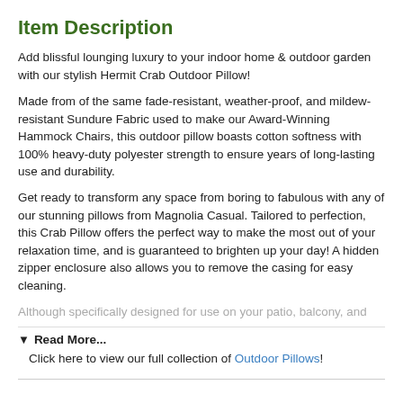Item Description
Add blissful lounging luxury to your indoor home & outdoor garden with our stylish Hermit Crab Outdoor Pillow!
Made from of the same fade-resistant, weather-proof, and mildew-resistant Sundure Fabric used to make our Award-Winning Hammock Chairs, this outdoor pillow boasts cotton softness with 100% heavy-duty polyester strength to ensure years of long-lasting use and durability.
Get ready to transform any space from boring to fabulous with any of our stunning pillows from Magnolia Casual. Tailored to perfection, this Crab Pillow offers the perfect way to make the most out of your relaxation time, and is guaranteed to brighten up your day! A hidden zipper enclosure also allows you to remove the casing for easy cleaning.
Although specifically designed for use on your patio, balcony, and...
▼  Read More...
Click here to view our full collection of Outdoor Pillows!